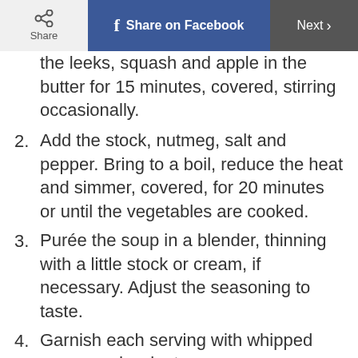Share | Share on Facebook | Next
the leeks, squash and apple in the butter for 15 minutes, covered, stirring occasionally.
2. Add the stock, nutmeg, salt and pepper. Bring to a boil, reduce the heat and simmer, covered, for 20 minutes or until the vegetables are cooked.
3. Purée the soup in a blender, thinning with a little stock or cream, if necessary. Adjust the seasoning to taste.
4. Garnish each serving with whipped cream and walnuts.
Nutritional information: